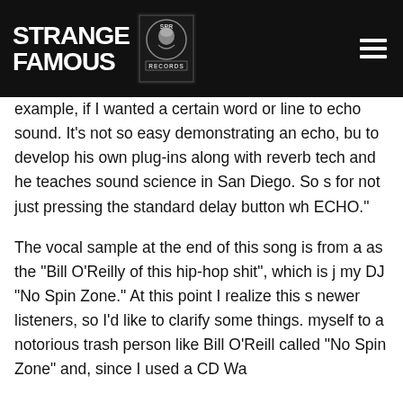[Figure (logo): Strange Famous Records logo with text 'STRANGE FAMOUS' in white bold font on black background, with a circular SPR badge logo]
example, if I wanted a certain word or line to echo sound. It's not so easy demonstrating an echo, bu to develop his own plug-ins along with reverb tec and he teaches sound science in San Diego. So s for not just pressing the standard delay button wh ECHO."
The vocal sample at the end of this song is from a as the “Bill O’Reilly of this hip-hop shit”, which is j my DJ “No Spin Zone.” At this point I realize this s newer listeners, so I’d like to clarify some things. myself to a notorious trash person like Bill O’Reill called “No Spin Zone” and, since I used a CD Wa